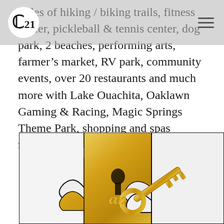Century 21 logo and navigation menu
miles of hiking / biking trails, fitness center, pickleball & tennis center, dog park, 2 beaches, performing arts, farmer's market, RV park, community events, over 20 restaurants and much more with Lake Ouachita, Oaklawn Gaming & Racing, Magic Springs Theme Park, shopping and spas nearby.
[Figure (photo): Gold key inserted into a keyhole in a golden puzzle piece, surrounded by white interlocking puzzle pieces with black outlines]